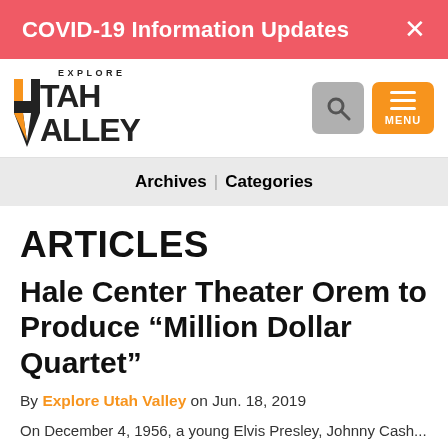COVID-19 Information Updates  ×
[Figure (logo): Explore Utah Valley logo with orange chevron/triangle shapes in the letters U and V]
Archives | Categories
ARTICLES
Hale Center Theater Orem to Produce “Million Dollar Quartet”
By Explore Utah Valley on Jun. 18, 2019
On December 4, 1956, a young...